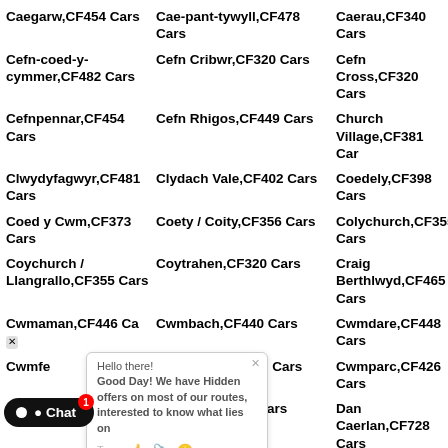Caegarw,CF454 Cars
Cae-pant-tywyll,CF478 Cars
Caerau,CF340 Cars
Cefn-coed-y-cymmer,CF482 Cars
Cefn Cribwr,CF320 Cars
Cefn Cross,CF320 Cars
Cefnpennar,CF454 Cars
Cefn Rhigos,CF449 Cars
Church Village,CF381 Cars
Clwydyfagwyr,CF481 Cars
Clydach Vale,CF402 Cars
Coedely,CF398 Cars
Coed y Cwm,CF373 Cars
Coety / Coity,CF356 Cars
Colychurch,CF355 Cars
Coychurch / Llangrallo,CF355 Cars
Coytrahen,CF320 Cars
Craig Berthlwyd,CF465 Cars
Cwmaman,CF446 Cars
Cwmbach,CF440 Cars
Cwmdare,CF448 Cars
Cwmfe...
Cwm-hwnt,CF449 Cars
Cwmparc,CF426 Cars
Cymdo...
Cymmer,CF399 Cars
Dan Caerlan,CF728 Cars
Derwe...
Dinas,CF401 Cars
Dolau,CF729 Cars
Dowla...
Dyffryn,CF340 Cars
Dyffryn Dowlats,CF381 Cars
Edmonstown,CF401
Edwardsville,CF465 Cars
Efail Isaf,CF381 Cars
Ffordd-y-Gvfraith,CF320